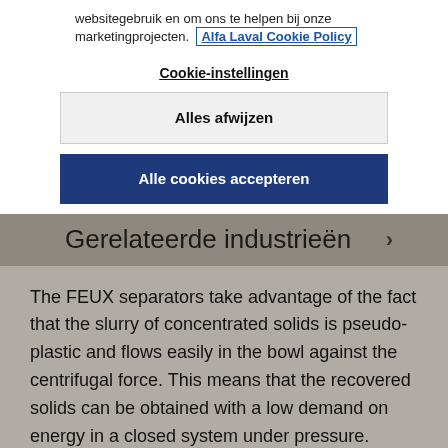websitegebruik en om ons te helpen bij onze marketingprojecten. Alfa Laval Cookie Policy
Cookie-instellingen
Alles afwijzen
Alle cookies accepteren
Gerelateerde industrieën
The FEUX separators take advantage of the fact that the slurry of concentrated solids is pseudo-plastic and flows easily in the bowl against the centrifugal force. This means that the recovered solids can be obtained with a low demand on energy in a closed system under pressure.